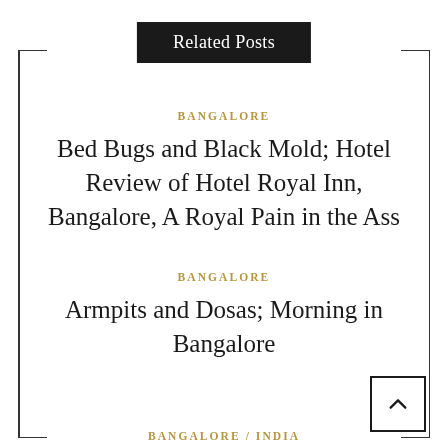Related Posts
BANGALORE
Bed Bugs and Black Mold; Hotel Review of Hotel Royal Inn, Bangalore, A Royal Pain in the Ass
BANGALORE
Armpits and Dosas; Morning in Bangalore
BANGALORE / INDIA